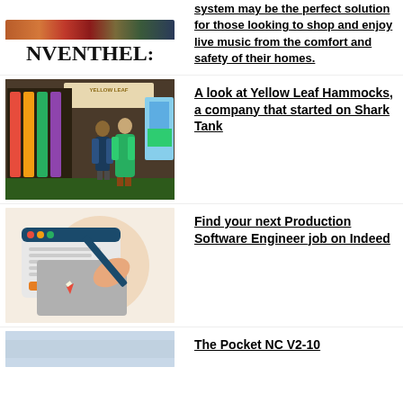[Figure (logo): NVENTHEL logo text in serif font with partial decorative image above]
system may be the perfect solution for those looking to shop and enjoy live music from the comfort and safety of their homes.
[Figure (photo): Two people standing in front of Yellow Leaf Hammocks display with colorful hammocks hanging on rack]
A look at Yellow Leaf Hammocks, a company that started on Shark Tank
[Figure (illustration): Illustration of a hand holding a pencil writing on a document on a computer screen with beige circle background]
Find your next Production Software Engineer job on Indeed
[Figure (photo): Partial image at bottom - light gray/blue background]
The Pocket NC V2-10